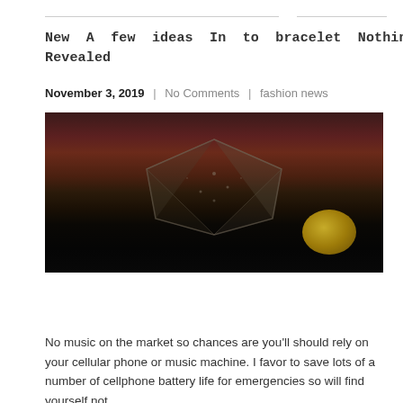New A few ideas In to bracelet Nothing You've Seen Prior Revealed
November 3, 2019  |  No Comments  |  fashion news
[Figure (photo): Dark moody photograph of a jeweled bracelet or ornate gemstone object on a dark red/maroon background, with a golden orb visible in the lower right corner.]
No music on the market so chances are you'll should rely on your cellular phone or music machine. I favor to save lots of a number of cellphone battery life for emergencies so will find yourself not